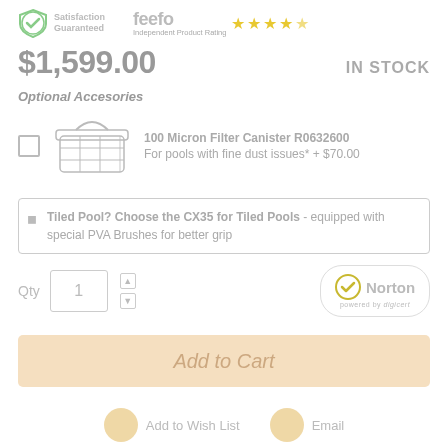[Figure (logo): Satisfaction Guaranteed badge with green checkmark and feefo star rating logo with 4.5 yellow stars and 'Independent Product Rating' text]
$1,599.00
IN STOCK
Optional Accesories
[Figure (photo): 100 Micron Filter Canister product image - a basket-style pool filter]
100 Micron Filter Canister R0632600
For pools with fine dust issues* + $70.00
Tiled Pool? Choose the CX35 for Tiled Pools - equipped with special PVA Brushes for better grip
Qty 1
[Figure (logo): Norton powered by DigiCert security badge]
Add to Cart
Add to Wish List
Email